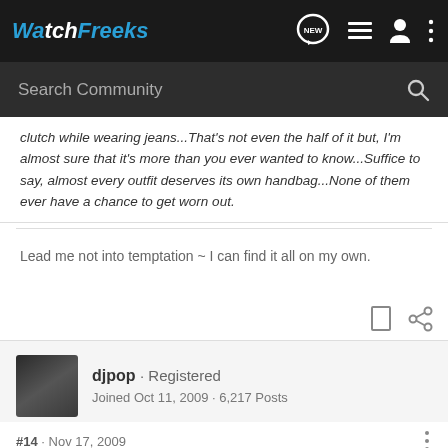WatchFreeks — Search Community
clutch while wearing jeans...That's not even the half of it but, I'm almost sure that it's more than you ever wanted to know...Suffice to say, almost every outfit deserves its own handbag...None of them ever have a chance to get worn out.
Lead me not into temptation ~ I can find it all on my own.
djpop · Registered
Joined Oct 11, 2009 · 6,217 Posts
#14 · Nov 17, 2009
imported post